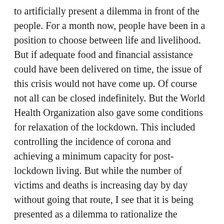to artificially present a dilemma in front of the people. For a month now, people have been in a position to choose between life and livelihood. But if adequate food and financial assistance could have been delivered on time, the issue of this crisis would not have come up. Of course not all can be closed indefinitely. But the World Health Organization also gave some conditions for relaxation of the lockdown. This included controlling the incidence of corona and achieving a minimum capacity for post-lockdown living. But while the number of victims and deaths is increasing day by day without going that route, I see that it is being presented as a dilemma to rationalize the economic activities. The economic rationale for pricing, which has given rise to both these crises, can be traced back to its roots.
Proponents of neoclassical economic theory have found that the cost of saving lives varies from country to country. The argument of locking down the lockdown